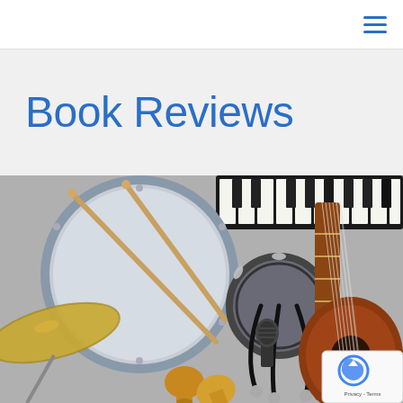≡ (navigation menu icon)
Book Reviews
[Figure (photo): Overhead flat-lay photo of various musical instruments including a cymbal, drum with sticks, tambourine, maracas, microphone, acoustic guitar, and electronic keyboard arranged on a grey surface.]